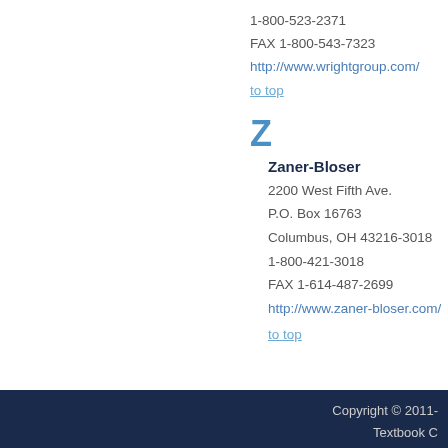1-800-523-2371
FAX 1-800-543-7323
http://www.wrightgroup.com/
to top
Z
Zaner-Bloser
2200 West Fifth Ave.
P.O. Box 16763
Columbus, OH 43216-3018
1-800-421-3018
FAX 1-614-487-2699
http://www.zaner-bloser.com/
to top
Copyright © 2011-
Textbook C